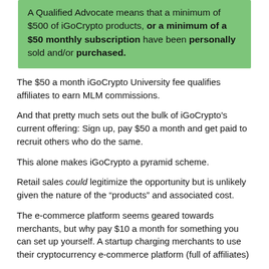A Qualified Advocate means that a minimum of $500 of iGoCrypto products, or a minimum of a $50 monthly subscription have been personally sold and/or purchased.
The $50 a month iGoCrypto University fee qualifies affiliates to earn MLM commissions.
And that pretty much sets out the bulk of iGoCrypto's current offering: Sign up, pay $50 a month and get paid to recruit others who do the same.
This alone makes iGoCrypto a pyramid scheme.
Retail sales could legitimize the opportunity but is unlikely given the nature of the “products” and associated cost.
The e-commerce platform seems geared towards merchants, but why pay $10 a month for something you can set up yourself. A startup charging merchants to use their cryptocurrency e-commerce platform (full of affiliates)